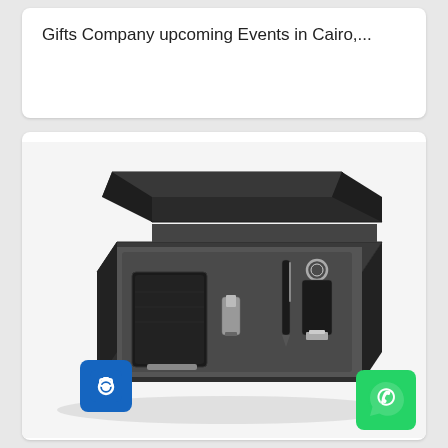Gifts Company upcoming Events in Cairo,...
[Figure (photo): A black gift box set opened, containing a black leather card holder/wallet, a metallic USB flash drive, a black pen, and a metal keychain with USB, arranged in foam-padded compartments inside a dark matte box]
[Figure (logo): Blue camera icon button overlay in bottom-left of product image]
[Figure (logo): WhatsApp green logo button overlay in bottom-right corner]